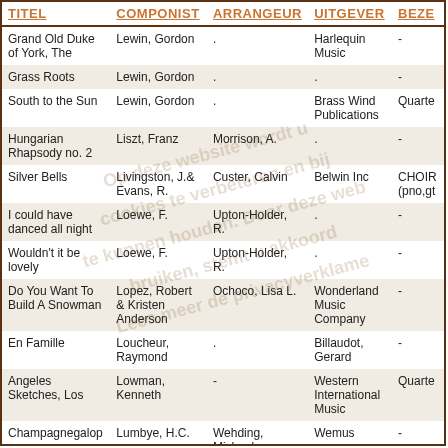| TITEL | COMPONIST | ARRANGEUR | UITGEVER | BEZE |
| --- | --- | --- | --- | --- |
| Grand Old Duke of York, The | Lewin, Gordon | . | Harlequin Music | - |
| Grass Roots | Lewin, Gordon | . | . | - |
| South to the Sun | Lewin, Gordon | . | Brass Wind Publications | Quarte |
| Hungarian Rhapsody no. 2 | Liszt, Franz | Morrison, A. | . | - |
| Silver Bells | Livingston, J.& Evans, R. | Custer, Calvin | Belwin Inc | CHOIR (pno,gt |
| I could have danced all night | Loewe, F. | Upton-Holder, R. | . | - |
| Wouldn't it be lovely | Loewe, F. | Upton-Holder, R. | . | - |
| Do You Want To Build A Snowman | Lopez, Robert & Kristen Anderson | Ochoco, Lisa L. | Wonderland Music Company | - |
| En Famille | Loucheur, Raymond | . | Billaudot, Gerard | - |
| Angeles Sketches, Los | Lowman, Kenneth | - | Western International Music | Quarte |
| Champagnegalop | Lumbye, H.C. | Wehding, Michael | Wemus | - |
| Two Tone Poems | MacDowell, Edward | McKay, George Frederick | Barnhouse Company | Quarte |
| Woodland | Macdowell, |  | Kendor music |  |